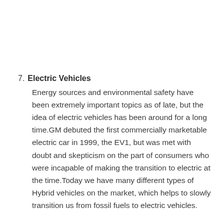7. Electric Vehicles
Energy sources and environmental safety have been extremely important topics as of late, but the idea of electric vehicles has been around for a long time.GM debuted the first commercially marketable electric car in 1999, the EV1, but was met with doubt and skepticism on the part of consumers who were incapable of making the transition to electric at the time.Today we have many different types of Hybrid vehicles on the market, which helps to slowly transition us from fossil fuels to electric vehicles.